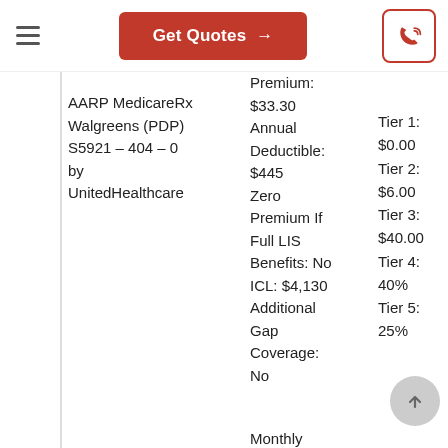Get Quotes →
AARP MedicareRx Walgreens (PDP) S5921 – 404 – 0 by UnitedHealthcare
Premium: $33.30 Annual Deductible: $445 Zero Premium If Full LIS Benefits: No ICL: $4,130 Additional Gap Coverage: No
Tier 1: $0.00 Tier 2: $6.00 Tier 3: $40.00 Tier 4: 40% Tier 5: 25%
Monthly Premium: $44.30
Tier 1: